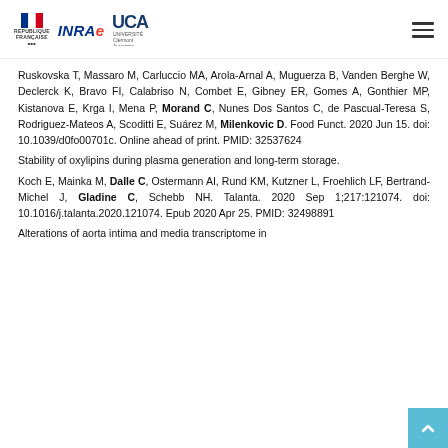REPUBLIQUE FRANÇAISE | INRAE | Université Clermont Auvergne
Ruskovska T, Massaro M, Carluccio MA, Arola-Arnal A, Muguerza B, Vanden Berghe W, Declerck K, Bravo FI, Calabriso N, Combet E, Gibney ER, Gomes A, Gonthier MP, Kistanova E, Krga I, Mena P, Morand C, Nunes Dos Santos C, de Pascual-Teresa S, Rodriguez-Mateos A, Scoditti E, Suárez M, Milenkovic D. Food Funct. 2020 Jun 15. doi: 10.1039/d0fo00701c. Online ahead of print. PMID: 32537624
Stability of oxylipins during plasma generation and long-term storage.
Koch E, Mainka M, Dalle C, Ostermann AI, Rund KM, Kutzner L, Froehlich LF, Bertrand-Michel J, Gladine C, Schebb NH. Talanta. 2020 Sep 1;217:121074. doi: 10.1016/j.talanta.2020.121074. Epub 2020 Apr 25. PMID: 32498891
Alterations of aorta intima and media transcriptome in